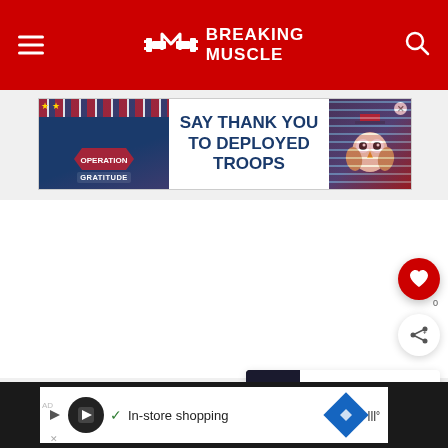Breaking Muscle — site header with logo, hamburger menu, and search icon
[Figure (screenshot): Operation Gratitude advertisement banner: 'SAY THANK YOU TO DEPLOYED TROOPS' with Operation Gratitude logo on left and owl cartoon on right]
[Figure (screenshot): Floating like (heart) button in red circle]
[Figure (screenshot): Floating share button in white circle]
WHAT'S NEXT → Watch Powerlifter...
In-store shopping — bottom advertisement bar